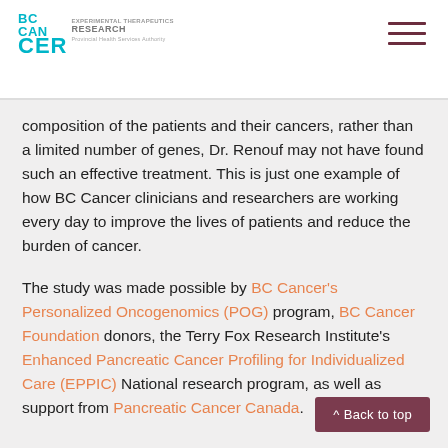BC Cancer Experimental Therapeutics Research
composition of the patients and their cancers, rather than a limited number of genes, Dr. Renouf may not have found such an effective treatment. This is just one example of how BC Cancer clinicians and researchers are working every day to improve the lives of patients and reduce the burden of cancer.
The study was made possible by BC Cancer's Personalized Oncogenomics (POG) program, BC Cancer Foundation donors, the Terry Fox Research Institute's Enhanced Pancreatic Cancer Profiling for Individualized Care (EPPIC) National research program, as well as support from Pancreatic Cancer Canada.
^ Back to top